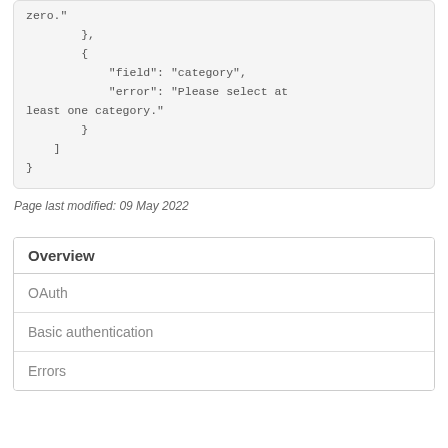zero."
        },
        {
            "field": "category",
            "error": "Please select at least one category."
        }
    ]
}
Page last modified: 09 May 2022
| Overview |
| --- |
| OAuth |
| Basic authentication |
| Errors |